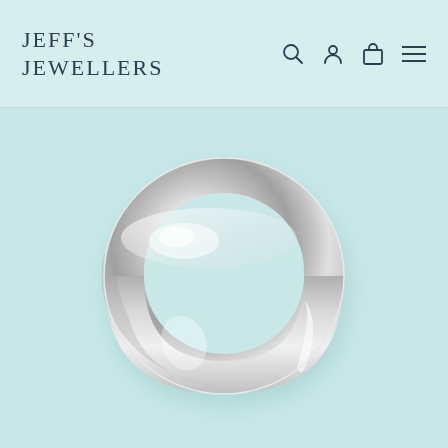JEFF'S JEWELLERS
[Figure (photo): A polished silver/white gold wedding band ring photographed on a light teal background, showing a classic court/comfort-fit profile with high polish finish.]